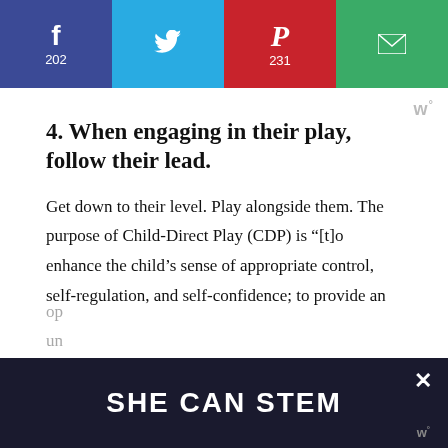[Figure (infographic): Social media share bar with Facebook (202), Twitter, Pinterest (231), and Email buttons]
4. When engaging in their play, follow their lead.
Get down to their level. Play alongside them. The purpose of Child-Direct Play (CDP) is “[t]o enhance the child’s sense of appropriate control, self-regulation, and self-confidence; to provide an op... un... st...
[Figure (infographic): SHE CAN STEM promotional banner at bottom of page with close button]